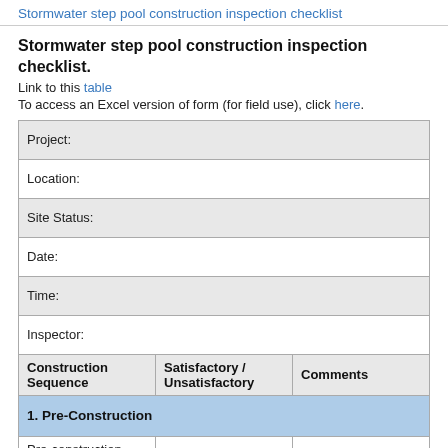Stormwater step pool construction inspection checklist
Stormwater step pool construction inspection checklist.
Link to this table
To access an Excel version of form (for field use), click here.
| Construction Sequence | Satisfactory / Unsatisfactory | Comments |
| --- | --- | --- |
| Project: |  |  |
| Location: |  |  |
| Site Status: |  |  |
| Date: |  |  |
| Time: |  |  |
| Inspector: |  |  |
| 1. Pre-Construction |  |  |
| Pre-construction meeting |  |  |